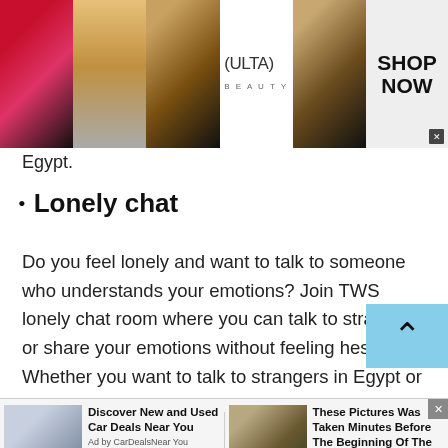[Figure (photo): Banner advertisement for Ulta Beauty showing makeup images (lips, brush, eyes), Ulta logo, another eye image, and 'SHOP NOW' button with close X]
Egypt.
Lonely chat
Do you feel lonely and want to talk to someone who understands your emotions? Join TWS lonely chat room where you can talk to strangers or share your emotions without feeling hesitant. Whether you want to talk to strangers in Egypt or any other country, TWS lonely chat is easy to access all over the globe. Here all you can find are only real users
[Figure (screenshot): Two bottom advertisement units: 'Discover New and Used Car Deals Near You' by CarDealsNearYou, and 'These Pictures Was Taken Minutes Before The Beginning Of The Disaster!' by BillyNews]